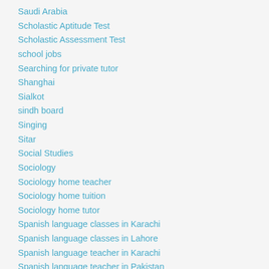Saudi Arabia
Scholastic Aptitude Test
Scholastic Assessment Test
school jobs
Searching for private tutor
Shanghai
Sialkot
sindh board
Singing
Sitar
Social Studies
Sociology
Sociology home teacher
Sociology home tuition
Sociology home tutor
Spanish language classes in Karachi
Spanish language classes in Lahore
Spanish language teacher in Karachi
Spanish language teacher in Pakistan
Spanish language tuition in Lahore
Spanish language tutor in Karachi
Spanish teacher in Islamabad
Spanish tutor in DHA